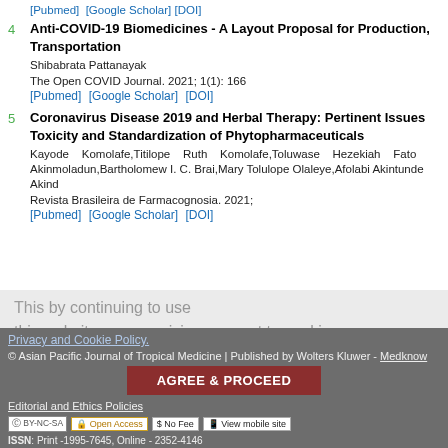[Pubmed] [Google Scholar] [DOI]
4 Anti-COVID-19 Biomedicines - A Layout Proposal for Production, Transportation
Shibabrata Pattanayak
The Open COVID Journal. 2021; 1(1): 166
[Pubmed] [Google Scholar] [DOI]
5 Coronavirus Disease 2019 and Herbal Therapy: Pertinent Issues Toxicity and Standardization of Phytopharmaceuticals
Kayode Komolafe,Titilope Ruth Komolafe,Toluwase Hezekiah Fato Akinmoladun,Bartholomew I. C. Brai,Mary Tolulope Olaleye,Afolabi Akintunde Akind
Revista Brasileira de Farmacognosia. 2021;
[Pubmed] [Google Scholar] [DOI]
This by continuing to use this website you are giving consent to cookies being used. For information on cookies and how you can disable them visit our
Privacy and Cookie Policy.
© Asian Pacific Journal of Tropical Medicine | Published by Wolters Kluwer - Medknow
AGREE & PROCEED
Editorial and Ethics Policies
ISSN: Print -1995-7645, Online - 2352-4146